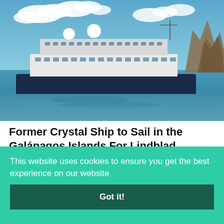[Figure (photo): A cruise/expedition ship sailing in blue ocean waters near rocky cliff formations, under a partly cloudy blue sky. The ship is dark navy blue with white superstructure and multiple decks.]
Former Crystal Ship to Sail in the Galápagos Islands For Lindblad Expeditions
August 16, 2022
This website uses cookies to ensure you get the best experience on our website
Got it!